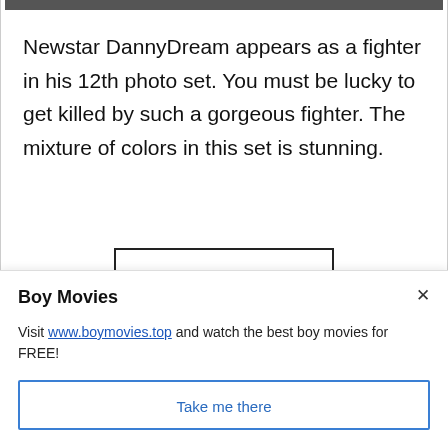[Figure (photo): Partial image strip at the top of the article, showing a cropped photo.]
Newstar DannyDream appears as a fighter in his 12th photo set. You must be lucky to get killed by such a gorgeous fighter. The mixture of colors in this set is stunning.
CONTINUE READING
Boy Movies
Visit www.boymovies.top and watch the best boy movies for FREE!
Take me there